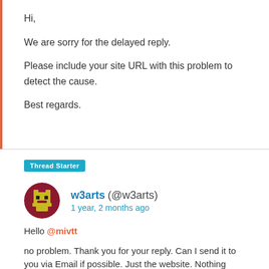Hi,

We are sorry for the delayed reply.

Please include your site URL with this problem to detect the cause.

Best regards.
Thread Starter
w3arts (@w3arts)
1 year, 2 months ago
Hello @mivtt

no problem. Thank you for your reply. Can I send it to you via Email if possible. Just the website. Nothing more.

Thank you. It's an amazing plugin